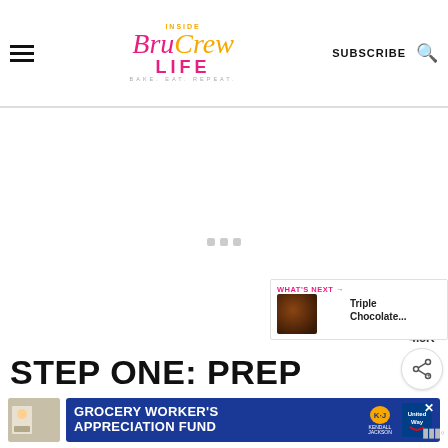Inside BruCrew Life - BAKE. EAT. REPEAT. | SUBSCRIBE
[Figure (screenshot): Blank/loading content area with three small grey placeholder dots]
[Figure (infographic): Pink heart/save button with 4.8K count and share button social sidebar on the right]
[Figure (photo): What's Next panel: Triple Chocolate... thumbnail on right side]
STEP ONE: PREP
[Figure (screenshot): Advertisement banner: Grocery Worker's Appreciation Fund - Kendall Jackson / United Way on blue background]